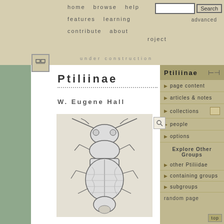home  browse  help  features  learning  contribute  about  under construction
Ptiliinae
W. Eugene Hall
[Figure (illustration): Scientific illustration of a beetle (Ptiliinae) showing dorsal view with segmented body, antennae, and legs. Detailed pen-and-ink style drawing.]
Ptiliinae
page content
articles & notes
collections
people
options
Explore Other Groups
other Ptiliidae
containing groups
subgroups
random page
roject
advanced
top